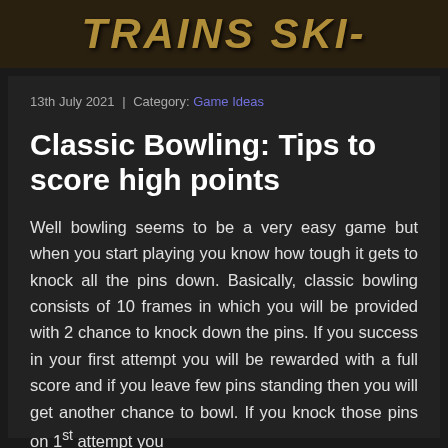[Figure (photo): Dark banner image with stylized game title text in gold/bronze italic font]
13th July 2021 | Category: Game Ideas
Classic Bowling: Tips to score high points
Well bowling seems to be a very easy game but when you start playing you know how tough it gets to knock all the pins down. Basically, classic bowling consists of 10 frames in which you will be provided with 2 chance to knock down the pins. If you success in your first attempt you will be rewarded with a full score and if you leave few pins standing then you will get another chance to bowl. If you knock those pins on 1st attempt you nd